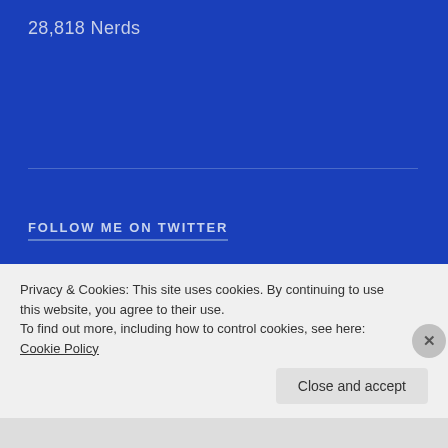28,818 Nerds
FOLLOW ME ON TWITTER
[Figure (screenshot): Twitter widget showing 'Tweets from @Zionxi1' with a dark/black background, showing a tweet from user Zionxi (@Zionxi1) dated Dec 2, 2020, with avatar and Twitter bird icon]
Privacy & Cookies: This site uses cookies. By continuing to use this website, you agree to their use.
To find out more, including how to control cookies, see here: Cookie Policy
Close and accept